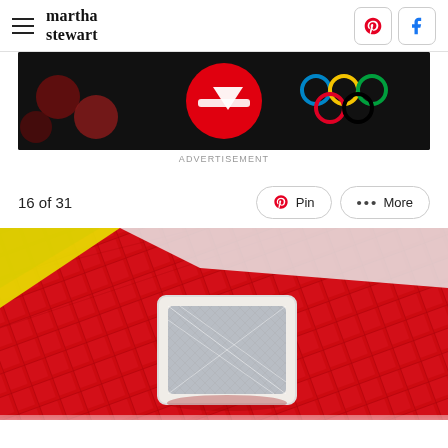martha stewart
[Figure (screenshot): Advertisement banner with black background, red circles, a red and white circular logo, and Olympic rings]
ADVERTISEMENT
16 of 31
[Figure (photo): Close-up photo of red woven/braided leather surface with a small white pouch or sachet containing a blue mesh-like material on top. Yellow fabric visible in upper left corner.]